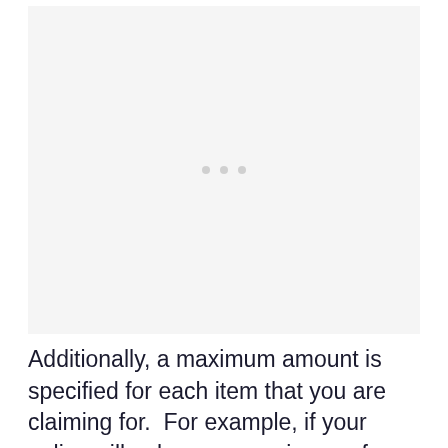[Figure (other): Image placeholder area with three grey dots centered, indicating a loading or missing image region.]
Additionally, a maximum amount is specified for each item that you are claiming for.  For example, if your policy will only pay a maximum of $3,00 for your lost, stolen or accidentally damaged